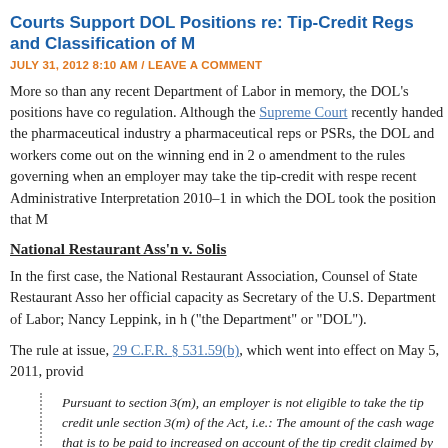Courts Support DOL Positions re: Tip-Credit Regs and Classification of M
JULY 31, 2012 8:10 AM / LEAVE A COMMENT
More so than any recent Department of Labor in memory, the DOL's positions have co regulation. Although the Supreme Court recently handed the pharmaceutical industry a pharmaceutical reps or PSRs, the DOL and workers come out on the winning end in 2 o amendment to the rules governing when an employer may take the tip-credit with respe recent Administrative Interpretation 2010–1 in which the DOL took the position that M
National Restaurant Ass'n v. Solis
In the first case, the National Restaurant Association, Counsel of State Restaurant Asso her official capacity as Secretary of the U.S. Department of Labor; Nancy Leppink, in h ("the Department" or "DOL").
The rule at issue, 29 C.F.R. § 531.59(b), which went into effect on May 5, 2011, provid
Pursuant to section 3(m), an employer is not eligible to take the tip credit unle section 3(m) of the Act, i.e.: The amount of the cash wage that is to be paid to increased on account of the tip credit claimed by the employer, which amoun employee must be retained by the employee except for a valid tip pooling arr apply to any employee who has not been informed of these requirements in thi
In its challenge to the regulation, the restaurant tradegroup-Plaintiffs alleged that the D new regulation, 29 C.F.R. § 531.59(b) (2011), concerning an employer's obligation to 29 U.S.C. §§ 201–219 (2006). The parties filed cross-motions seeking judgment in th